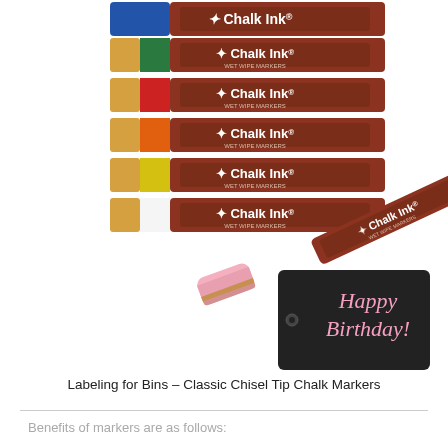[Figure (photo): Product photo showing multiple Chalk Ink Classic Chisel Tip Chalk Markers stacked on top including colors blue, green, red, orange, yellow, and white/gold, plus a single open pink Chalk Ink marker with cap removed next to a dark gift tag that reads 'Happy Birthday!' written in pink chalk ink.]
Labeling for Bins – Classic Chisel Tip Chalk Markers
Benefits of markers are as follows: